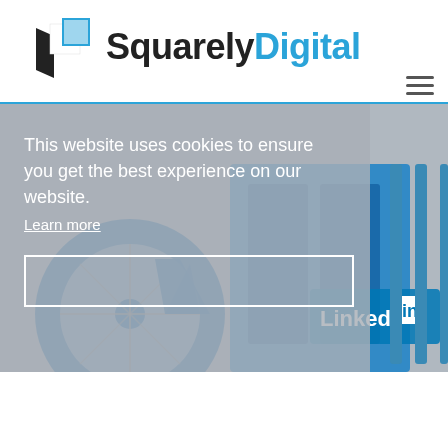[Figure (logo): Squarely Digital logo with geometric square icon in black and blue, company name 'SquarelyDigital' with 'Squarely' in dark and 'Digital' in blue]
[Figure (photo): Blue bicycles parked in a bike-share station, with LinkedIn branding visible on one bicycle]
This website uses cookies to ensure you get the best experience on our website.
Learn more